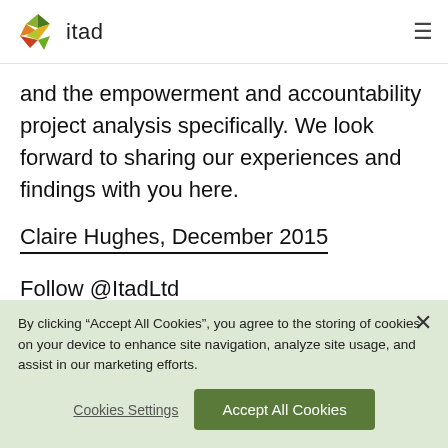itad
and the empowerment and accountability project analysis specifically. We look forward to sharing our experiences and findings with you here.
Claire Hughes, December 2015
Follow @ItadLtd
By clicking “Accept All Cookies”, you agree to the storing of cookies on your device to enhance site navigation, analyze site usage, and assist in our marketing efforts.
Cookies Settings
Accept All Cookies